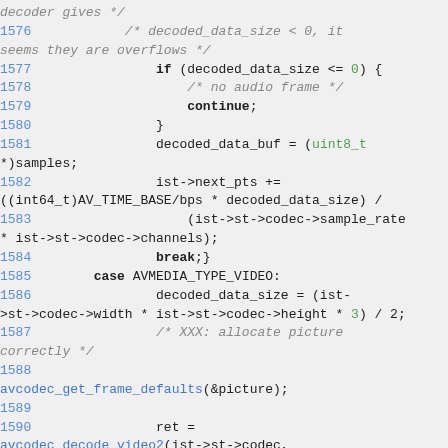[Figure (screenshot): Source code snippet in C showing lines 1576-1591 of a media decoder implementation, with syntax highlighting. Line numbers in blue, keywords in bold, types and numeric literals in green, function names in blue.]